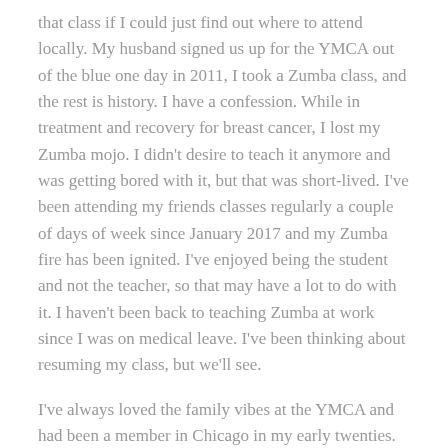that class if I could just find out where to attend locally. My husband signed us up for the YMCA out of the blue one day in 2011, I took a Zumba class, and the rest is history. I have a confession. While in treatment and recovery for breast cancer, I lost my Zumba mojo. I didn't desire to teach it anymore and was getting bored with it, but that was short-lived. I've been attending my friends classes regularly a couple of days of week since January 2017 and my Zumba fire has been ignited. I've enjoyed being the student and not the teacher, so that may have a lot to do with it. I haven't been back to teaching Zumba at work since I was on medical leave. I've been thinking about resuming my class, but we'll see.
I've always loved the family vibes at the YMCA and had been a member in Chicago in my early twenties. After I had my son in 2001, I stopped going to gyms because I didn't trust the child care. I don't know why we didn't join the YMCA in Austin. I began working out at home and gradually developed a library of exercise tapes/DVD's. I would get up 5:00 am and do an hour of